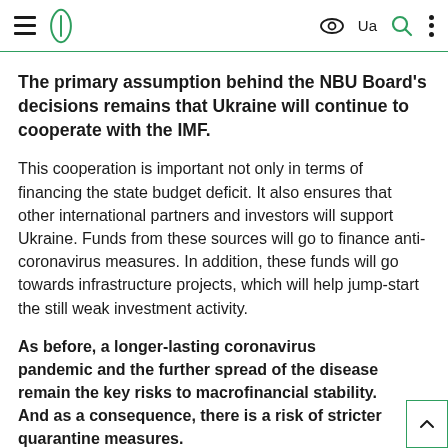NBU (National Bank of Ukraine) website header with hamburger menu, logo, eye icon, Ua language switch, search icon, and more options icon
The primary assumption behind the NBU Board's decisions remains that Ukraine will continue to cooperate with the IMF.
This cooperation is important not only in terms of financing the state budget deficit. It also ensures that other international partners and investors will support Ukraine. Funds from these sources will go to finance anti-coronavirus measures. In addition, these funds will go towards infrastructure projects, which will help jump-start the still weak investment activity.
As before, a longer-lasting coronavirus pandemic and the further spread of the disease remain the key risks to macrofinancial stability. And as a consequence, there is a risk of stricter quarantine measures.
The increase in the number of coronavirus cases in